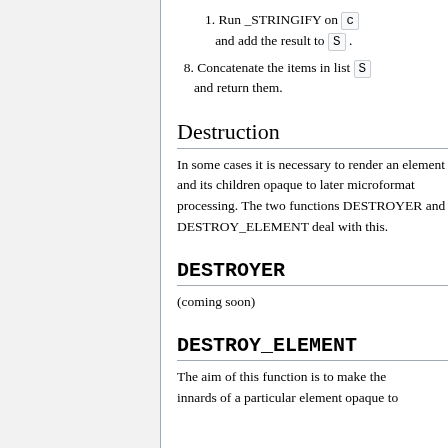1. Run _STRINGIFY on c and add the result to S .
8. Concatenate the items in list S and return them.
Destruction
In some cases it is necessary to render an element and its children opaque to later microformat processing. The two functions DESTROYER and DESTROY_ELEMENT deal with this.
DESTROYER
(coming soon)
DESTROY_ELEMENT
The aim of this function is to make the innards of a particular element opaque to